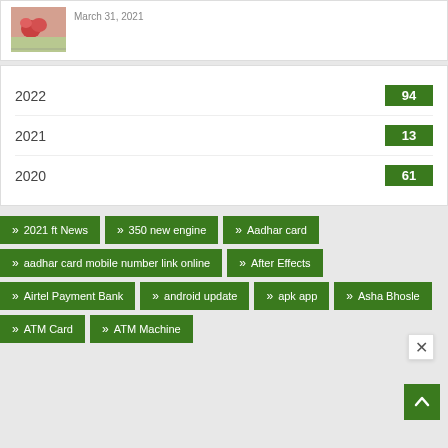[Figure (photo): Small photo thumbnail of flowers]
March 31, 2021
2022  94
2021  13
2020  61
2021 ft News
350 new engine
Aadhar card
aadhar card mobile number link online
After Effects
Airtel Payment Bank
android update
apk app
Asha Bhosle
ATM Card
ATM Machine